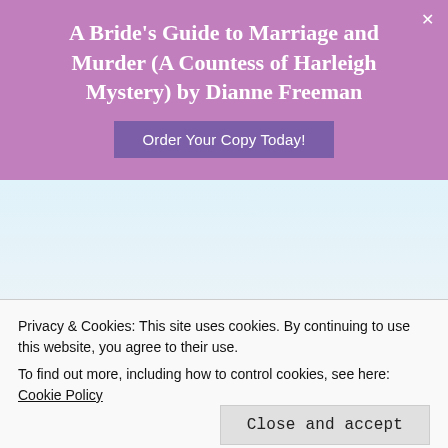[Figure (other): Beach/tropical background with sky, sand, and palm fronds on the left side]
A Bride's Guide to Marriage and Murder (A Countess of Harleigh Mystery) by Dianne Freeman
Order Your Copy Today!
February 8, 2012 at 5:41 PM
Sounds a fun mystery series!
Kelly B says:
Privacy & Cookies: This site uses cookies. By continuing to use this website, you agree to their use.
To find out more, including how to control cookies, see here:
Cookie Policy
Close and accept